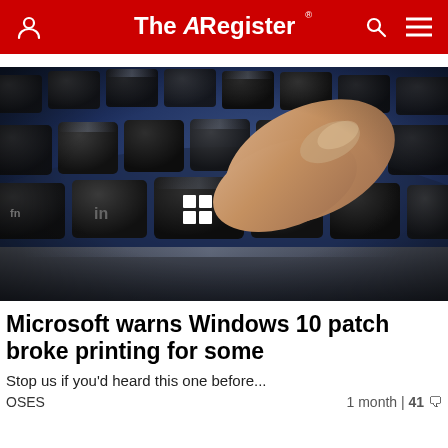The Register
[Figure (photo): Close-up photograph of a laptop keyboard with dark keys, showing a Windows key with the Windows logo being pressed by a finger. The keyboard has a dark blue/black color scheme.]
Microsoft warns Windows 10 patch broke printing for some
Stop us if you'd heard this one before...
OSES    1 month | 41